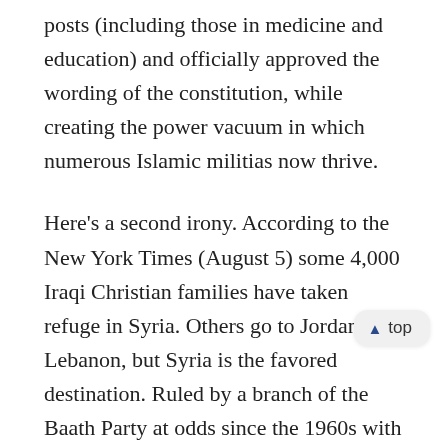posts (including those in medicine and education) and officially approved the wording of the constitution, while creating the power vacuum in which numerous Islamic militias now thrive.
Here's a second irony. According to the New York Times (August 5) some 4,000 Iraqi Christian families have taken refuge in Syria. Others go to Jordan or Lebanon, but Syria is the favored destination. Ruled by a branch of the Baath Party at odds since the 1960s with its Iraqi counterpart, Syria remains a secular republic. Ten percent of the population (about 1.8 million) is Christian, and Iraqi Christians reportedly feel little discrimination